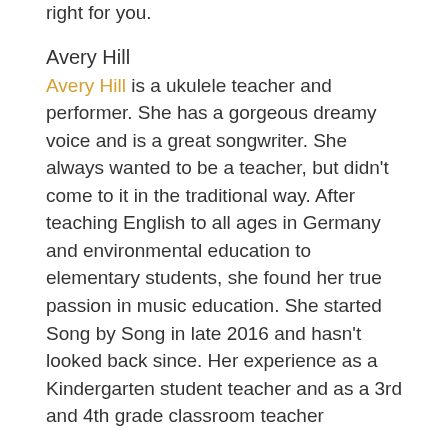right for you.
Avery Hill
Avery Hill is a ukulele teacher and performer. She has a gorgeous dreamy voice and is a great songwriter. She always wanted to be a teacher, but didn't come to it in the traditional way. After teaching English to all ages in Germany and environmental education to elementary students, she found her true passion in music education. She started Song by Song in late 2016 and hasn't looked back since. Her experience as a Kindergarten student teacher and as a 3rd and 4th grade classroom teacher